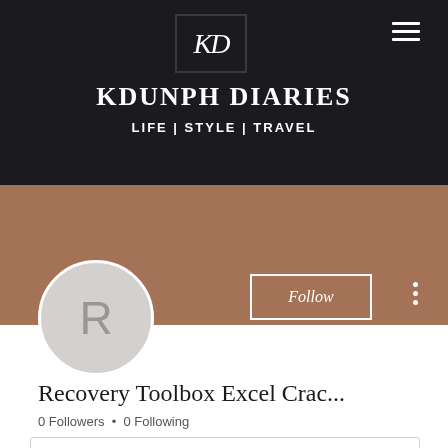[Figure (logo): KD monogram logo in italic script on dark background]
KDUNPH DIARIES
LIFE | STYLE | TRAVEL
[Figure (photo): Brown banner with circular avatar showing letter R, Follow button, and three-dot menu]
Recovery Toolbox Excel Crac...
0 Followers • 0 Following